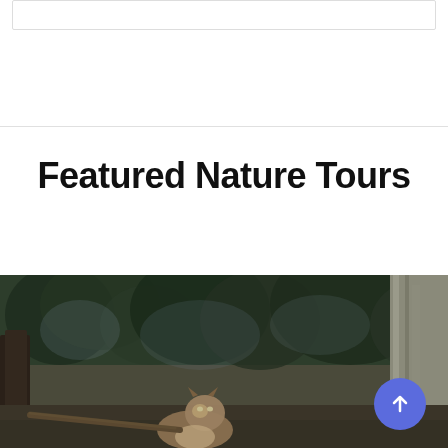[Figure (screenshot): Top portion of a web UI showing a white rounded rectangle input/search box with a thin border]
Featured Nature Tours
[Figure (photo): A lynx standing in a dense forest with dark green foliage and trees in the background; a circular blue scroll-to-top button with an upward arrow is overlaid in the bottom-right corner]